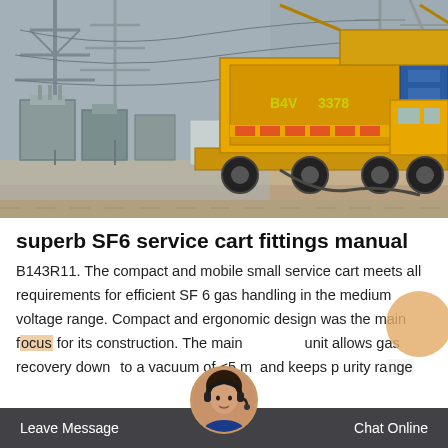[Figure (photo): A yellow service cart/truck at an electrical substation with high-voltage pylons and equipment visible in the background. The truck has a yellow container body on a flatbed platform.]
superb SF6 service cart fittings manual
B143R11. The compact and mobile small service cart meets all requirements for efficient SF 6 gas handling in the medium voltage range. Compact and ergonomic design was the main focus for its construction. The main unit allows gas recovery down to a vacuum of <5 mbar and keeps purity range